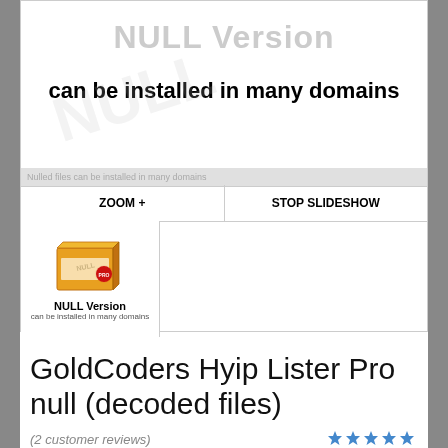[Figure (illustration): Product slideshow image showing 'NULL Version can be installed in many domains' text with watermark]
ZOOM +
STOP SLIDESHOW
[Figure (illustration): Thumbnail of product box with 'NULL Version can be installed in many domains' label]
GoldCoders Hyip Lister Pro null (decoded files)
(2 customer reviews)
$85.00 $69.00